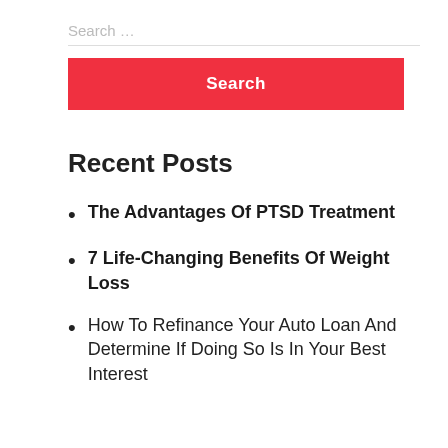Search …
Search
Recent Posts
The Advantages Of PTSD Treatment
7 Life-Changing Benefits Of Weight Loss
How To Refinance Your Auto Loan And Determine If Doing So Is In Your Best Interest